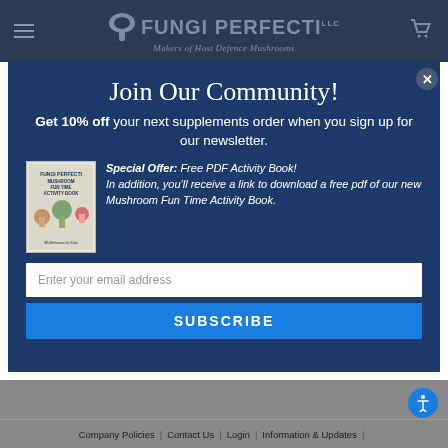FUNGI PERFECTI LLC — Makers of Host Defence Mushrooms
Join Our Community!
Get 10% off your next supplements order when you sign up for our newsletter.
[Figure (illustration): Book cover thumbnail: Fungi Perfecti Mushroom Fun Time Activity Book]
Special Offer: Free PDF Activity Book! In addition, you'll receive a link to download a free pdf of our new Mushroom Fun Time Activity Book.
Enter your email address
SUBSCRIBE
Company Policies | Contact Us | Login | Information & Updates |